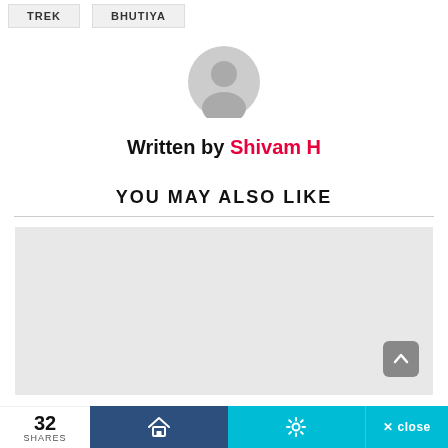TREK   BHUTIYA
[Figure (illustration): Gray circular avatar/profile icon placeholder]
Written by Shivam H
YOU MAY ALSO LIKE
[Figure (other): Gray placeholder content box for recommended articles]
32 SHARES | Home icon | Settings icon | × close